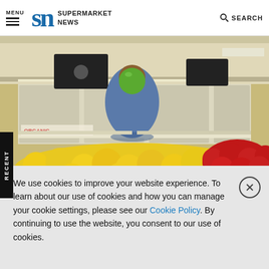MENU | SN SUPERMARKET NEWS | SEARCH
[Figure (photo): Person in a supermarket produce section holding a green apple in front of their face, with yellow lemons and red apples displayed in the foreground, and a suspended black digital sign visible in the background.]
urveyed retailers indicated that they're making investments for fresh oods departments in-store, but additionally report an increase in the mount of fresh foods sales online.
We use cookies to improve your website experience. To learn about our use of cookies and how you can manage your cookie settings, please see our Cookie Policy. By continuing to use the website, you consent to our use of cookies.